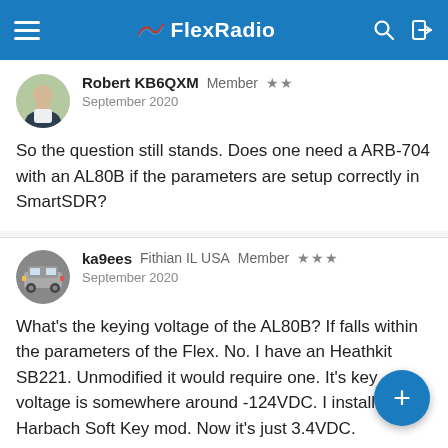FlexRadio
Robert KB6QXM  Member  ★★
September 2020
So the question still stands. Does one need a ARB-704 with an AL80B if the parameters are setup correctly in SmartSDR?
ka9ees  Fithian IL USA  Member  ★★★
September 2020
What's the keying voltage of the AL80B? If falls within the parameters of the Flex. No. I have an Heathkit SB221. Unmodified it would require one. It's keying voltage is somewhere around -124VDC. I installed the Harbach Soft Key mod. Now it's just 3.4VDC.